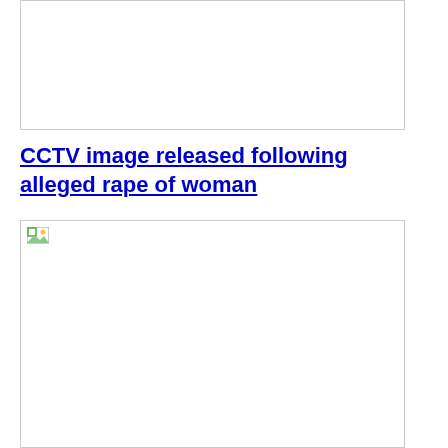[Figure (photo): Top image placeholder — white box with border, image not loaded]
CCTV image released following alleged rape of woman
[Figure (photo): Bottom image placeholder — white box with border and broken image icon in top-left, image not loaded]